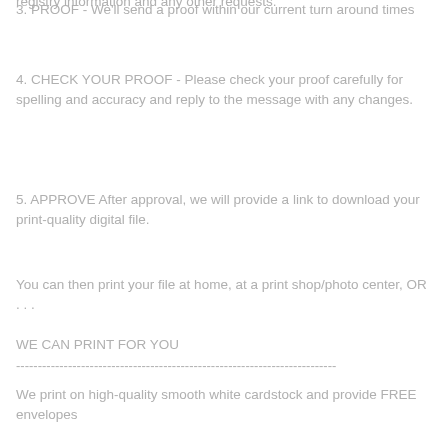registry information and any other requests.
3. PROOF - We'll send a proof within our current turn around times
4. CHECK YOUR PROOF - Please check your proof carefully for spelling and accuracy and reply to the message with any changes.
5. APPROVE After approval, we will provide a link to download your print-quality digital file.
You can then print your file at home, at a print shop/photo center, OR . . .
WE CAN PRINT FOR YOU
--------------------------------------------------------------------------
We print on high-quality smooth white cardstock and provide FREE envelopes